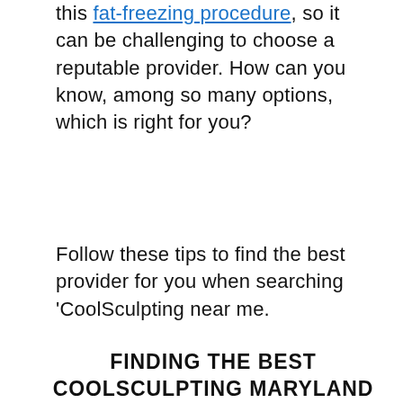this fat-freezing procedure, so it can be challenging to choose a reputable provider. How can you know, among so many options, which is right for you?
Follow these tips to find the best provider for you when searching 'CoolSculpting near me.
FINDING THE BEST COOLSCULPTING MARYLAND PROVIDERS
Using 'CoolSculpting near me' is just one of many ways to find providers in Maryland. On the official CoolSculpting website, you can use 'Find a Provider' and your zip code to generate a list of